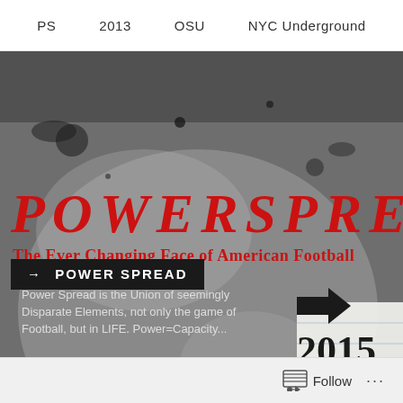PS    2013    OSU    NYC Underground
[Figure (photo): Grunge black and white textured background with ink splatter and worn paper effect]
POWERSPREA
The Ever Changing Face of American Football
→ POWER SPREAD
Power Spread is the Union of seemingly Disparate Elements, not only the game of Football, but in LIFE. Power=Capacity...
[Figure (other): Arrow icon pointing right on white lined notepad background]
2015
CHA
Follow  ...